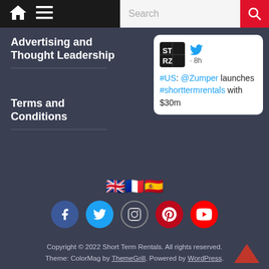Search
Advertising and Thought Leadership
Terms and Conditions
[Figure (screenshot): Twitter card showing STRZ logo, Twitter bird icon, 8h timestamp, with text '#US: @Zumper launches #shorttermrentals with $30m']
[Figure (infographic): Flag emoji icons: UK flag, French flag, Spanish flag]
[Figure (infographic): Social media icons: Facebook (blue), Twitter (blue), Instagram (outline), Pinterest (red), YouTube (red)]
Copyright © 2022 Short Term Rentals. All rights reserved. Theme: ColorMag by ThemeGrill. Powered by WordPress.